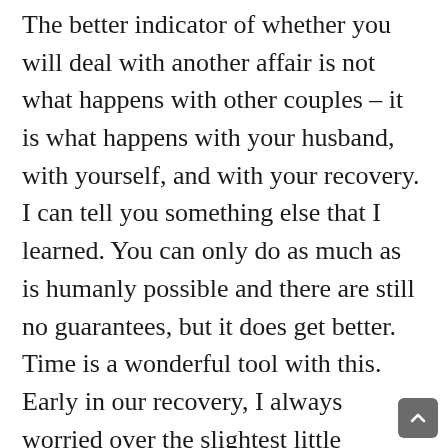The better indicator of whether you will deal with another affair is not what happens with other couples – it is what happens with your husband, with yourself, and with your recovery. I can tell you something else that I learned. You can only do as much as is humanly possible and there are still no guarantees, but it does get better. Time is a wonderful tool with this. Early in our recovery, I always worried over the slightest little perception of deception. Most of the time, it was just my suspicions working overtime But with time, you begin to see that your first fears aren't coming true and you allow yourself to relax just a tiny bit more. And one day, you realize that if you do the counseling, if you insist that your husband take responsibility and become rehabilitated, and if you work on yourself and you become as strong as you possibly can,